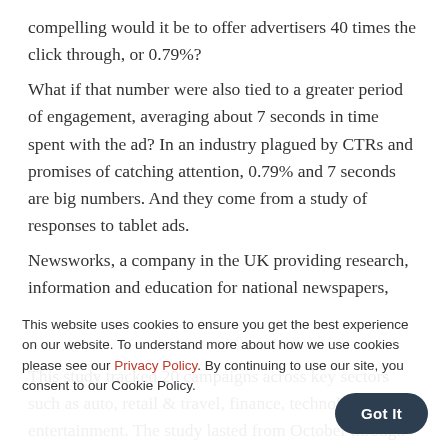compelling would it be to offer advertisers 40 times the click through, or 0.79%? What if that number were also tied to a greater period of engagement, averaging about 7 seconds in time spent with the ad? In an industry plagued by CTRs and promises of catching attention, 0.79% and 7 seconds are big numbers. And they come from a study of responses to tablet ads. Newsworks, a company in the UK providing research, information and education for national newspapers,
This website uses cookies to ensure you get the best experience on our website. To understand more about how we use cookies please see our Privacy Policy. By continuing to use our site, you consent to our Cookie Policy.
This study tracked 20 campaigns across key sectors such as auto, retail & travel, finance, technology and entertainment. The study lasted from October through December 2013. During this time they monitored how readers interacted with tablet publications from these